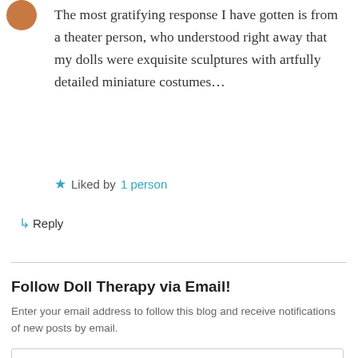The most gratifying response I have gotten is from a theater person, who understood right away that my dolls were exquisite sculptures with artfully detailed miniature costumes…
★ Liked by 1 person
↳ Reply
Follow Doll Therapy via Email!
Enter your email address to follow this blog and receive notifications of new posts by email.
Enter your email address
Follow